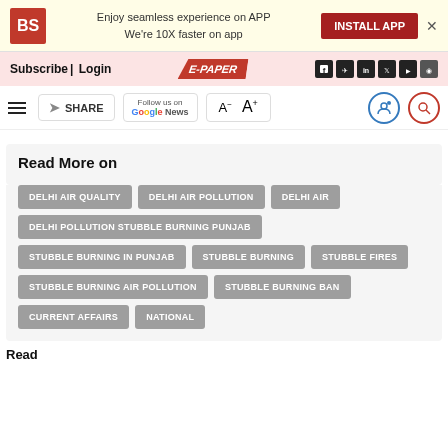BS logo | Enjoy seamless experience on APP We're 10X faster on app | INSTALL APP | x
Subscribe| Login | E-PAPER | social icons
hamburger | SHARE | Follow us on Google News | A- A+ | profile icon | search icon
Read More on
DELHI AIR QUALITY
DELHI AIR POLLUTION
DELHI AIR
DELHI POLLUTION STUBBLE BURNING PUNJAB
STUBBLE BURNING IN PUNJAB
STUBBLE BURNING
STUBBLE FIRES
STUBBLE BURNING AIR POLLUTION
STUBBLE BURNING BAN
CURRENT AFFAIRS
NATIONAL
Read